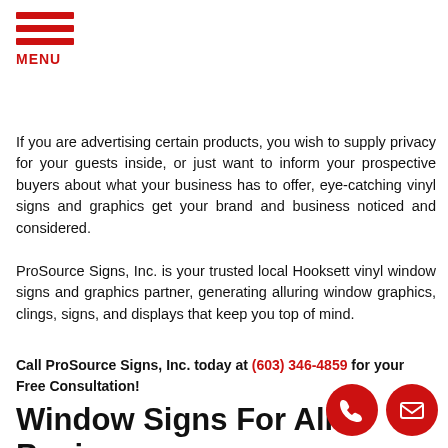[Figure (other): Red hamburger menu icon with three horizontal bars and MENU label in red]
If you are advertising certain products, you wish to supply privacy for your guests inside, or just want to inform your prospective buyers about what your business has to offer, eye-catching vinyl signs and graphics get your brand and business noticed and considered.
ProSource Signs, Inc. is your trusted local Hooksett vinyl window signs and graphics partner, generating alluring window graphics, clings, signs, and displays that keep you top of mind.
Call ProSource Signs, Inc. today at (603) 346-4859 for your Free Consultation!
Window Signs For All Businesses
ProSource Signs, Inc. produces the best window graphics
[Figure (other): Two circular red buttons at bottom right: phone icon and email/envelope icon]